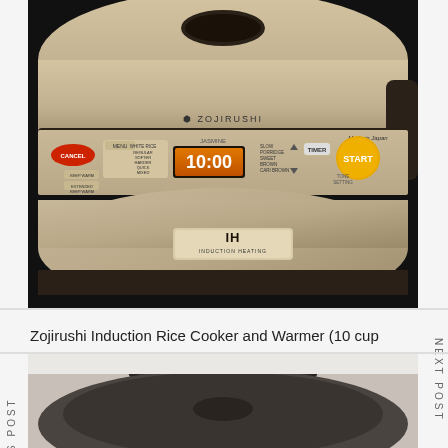[Figure (photo): Zojirushi NP-HCC10 Induction Heating rice cooker and warmer, stainless steel/dark brown color, showing control panel with LCD display showing 10:00, START button in orange/yellow, multiple menu buttons including WHITE RICE, JASMINE, SLOW, PORRIDGE, SWEET, BROWN, CARI BROWN, TIMER button, and IH INDUCTION HEATING logo on front body]
Zojirushi Induction Rice Cooker and Warmer (10 cup
[Figure (photo): Bottom portion of another rice cooker or similar appliance, showing handle and lid from above, dark charcoal/black color]